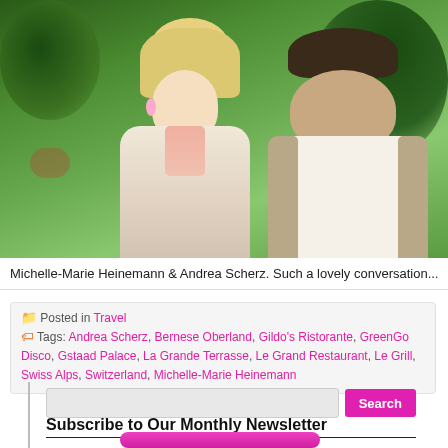[Figure (photo): Two people, a blonde woman and a man in a light jacket, smiling and talking outdoors in a garden setting with green trees and flowers in background.]
Michelle-Marie Heinemann & Andrea Scherz. Such a lovely conversation...
Posted in Travel
Tags: Andrea Scherz, Bernese Oberland, Gildo's Ristorante, GreenGo Disco, Gstaad Palace, La Grande Terrasse, Le Grand Restaurant, Le Grill, Swiss Alps, Switzerland, Michelle-Marie Heinemann
Subscribe to Our Monthly Newsletter